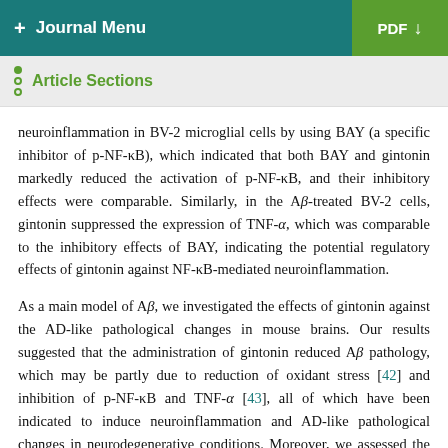+ Journal Menu   PDF ↓
Article Sections
neuroinflammation in BV-2 microglial cells by using BAY (a specific inhibitor of p-NF-κB), which indicated that both BAY and gintonin markedly reduced the activation of p-NF-κB, and their inhibitory effects were comparable. Similarly, in the Aβ-treated BV-2 cells, gintonin suppressed the expression of TNF-α, which was comparable to the inhibitory effects of BAY, indicating the potential regulatory effects of gintonin against NF-κB-mediated neuroinflammation.
As a main model of Aβ, we investigated the effects of gintonin against the AD-like pathological changes in mouse brains. Our results suggested that the administration of gintonin reduced Aβ pathology, which may be partly due to reduction of oxidant stress [42] and inhibition of p-NF-κB and TNF-α [43], all of which have been indicated to induce neuroinflammation and AD-like pathological changes in neurodegenerative conditions. Moreover, we assessed the memory and synaptic functions in the treated groups, and the findings indicated that gintonin